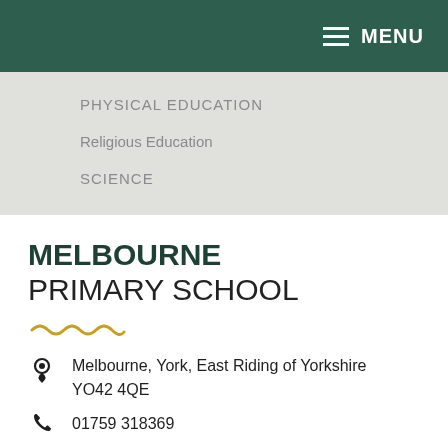MENU
PHYSICAL EDUCATION
Religious Education
SCIENCE
MELBOURNE PRIMARY SCHOOL
Melbourne, York, East Riding of Yorkshire YO42 4QE
01759 318369
EMAIL US